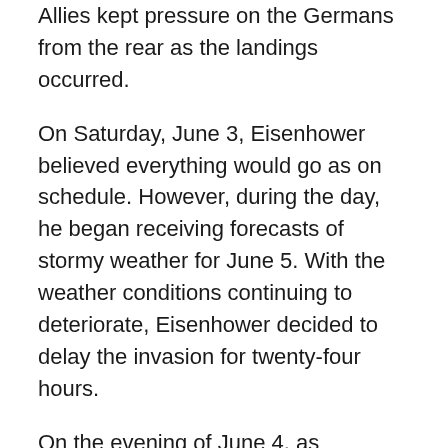Allies kept pressure on the Germans from the rear as the landings occurred.
On Saturday, June 3, Eisenhower believed everything would go as on schedule. However, during the day, he began receiving forecasts of stormy weather for June 5. With the weather conditions continuing to deteriorate, Eisenhower decided to delay the invasion for twenty-four hours.
On the evening of June 4, as Eisenhower sat in the dining room with his commanders, Stagg came in to report a break in the weather. The rain would stop within two or three hours, followed by thirty-six hours of relatively calm weather and mild winds. Eisenhower sat quietly. Smith told him it was a “helluva gamble.” Eisenhower looked at Montgomery. “Do you see any reason for not going on Tuesday?” he asked.